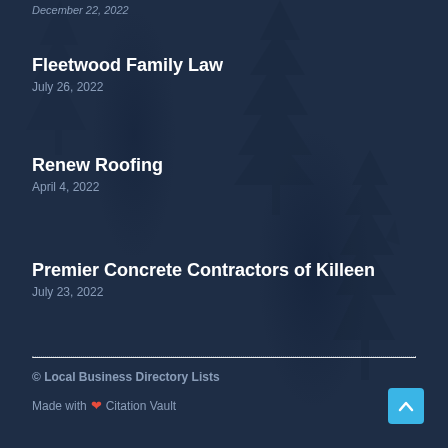December 22, 2022
Fleetwood Family Law
July 26, 2022
Renew Roofing
April 4, 2022
Premier Concrete Contractors of Killeen
July 23, 2022
© Local Business Directory Lists
Made with ❤ Citation Vault